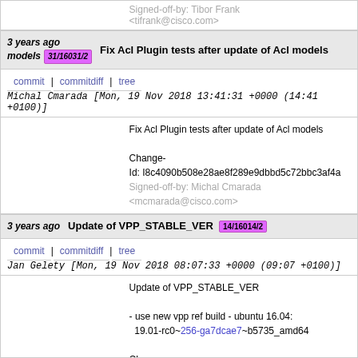Signed-off-by: Tibor Frank <tifrank@cisco.com>
3 years ago models 31/16031/2 | Fix Acl Plugin tests after update of Acl models
commit | commitdiff | tree   Michal Cmarada [Mon, 19 Nov 2018 13:41:31 +0000 (14:41 +0100)]
Fix Acl Plugin tests after update of Acl models

Change-Id: I8c4090b508e28ae8f289e9dbbd5c72bbc3af4a
Signed-off-by: Michal Cmarada <mcmarada@cisco.com>
3 years ago   Update of VPP_STABLE_VER 14/16014/2
commit | commitdiff | tree   Jan Gelety [Mon, 19 Nov 2018 08:07:33 +0000 (09:07 +0100)]
Update of VPP_STABLE_VER

- use new vpp ref build - ubuntu 16.04: 19.01-rc0~256-ga7dcae7~b5735_amd64

Change-Id: I2d758dca16eda0bdf17c5289ac386af19c0693
Signed-off-by: Jan Gelety <jgelety@cisco.com>